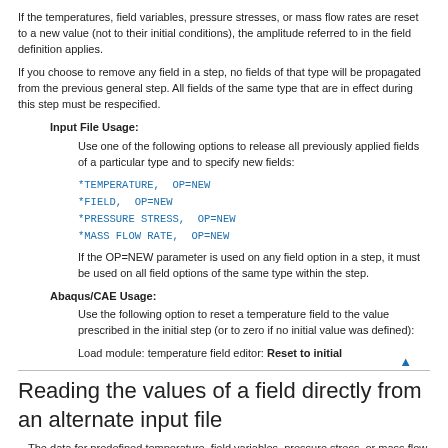If the temperatures, field variables, pressure stresses, or mass flow rates are reset to a new value (not to their initial conditions), the amplitude referred to in the field definition applies.
If you choose to remove any field in a step, no fields of that type will be propagated from the previous general step. All fields of the same type that are in effect during this step must be respecified.
Input File Usage:
Use one of the following options to release all previously applied fields of a particular type and to specify new fields:
*TEMPERATURE, OP=NEW
*FIELD, OP=NEW
*PRESSURE STRESS, OP=NEW
*MASS FLOW RATE, OP=NEW
If the OP=NEW parameter is used on any field option in a step, it must be used on all field options of the same type within the step.
Abaqus/CAE Usage:
Use the following option to reset a temperature field to the value prescribed in the initial step (or to zero if no initial value was defined):
Load module: temperature field editor: Reset to initial
Reading the values of a field directly from an alternate input file
The data for predefined temperature, field variables, pressure stress, or mass flow rate can be contained in a separate input file (see Input Syntax Rules).
Input File Usage:
Use one of the following options:
*TEMPERATURE, INPUT=file name